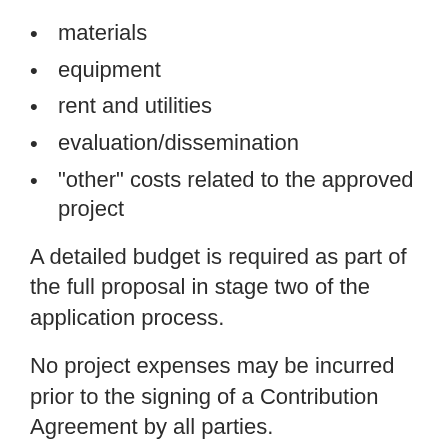materials
equipment
rent and utilities
evaluation/dissemination
"other" costs related to the approved project
A detailed budget is required as part of the full proposal in stage two of the application process.
No project expenses may be incurred prior to the signing of a Contribution Agreement by all parties.
Ineligible Activities and Expenses